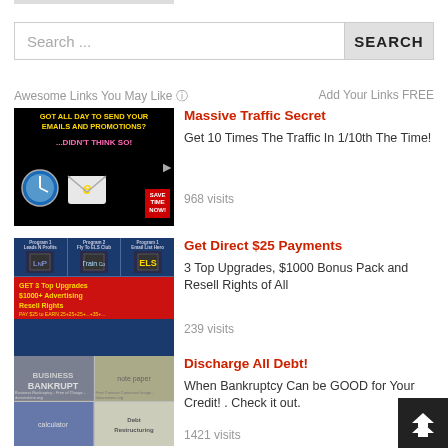[Figure (screenshot): Search bar with text input placeholder 'Search ...' and a SEARCH button]
Awesome Links You May Like ⓘ
Add Your Links FREE
[Figure (photo): Ad banner for Massive Traffic Secret - dark background with clock and email icons, yellow text]
Massive Traffic Secret
Get 10 Times The Traffic In 1/10th The Time!
968 visits
[Figure (photo): Ad banner for Get Direct $25 Payments - blue and red background with upgrade info]
Get Direct $25 Payments
3 Top Upgrades, $1000 Bonus Pack and Resell Rights of All
239 visits
[Figure (photo): Ad banner for Discharge All Debt - showing bankruptcy and debt restructuring images]
Discharge All Debt!
When Bankruptcy Can be GOOD for Your Credit! . Check it out.
1421 visits